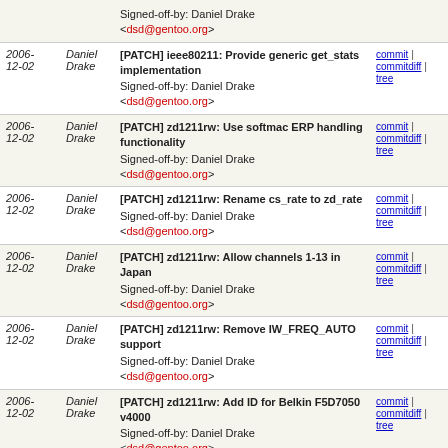| Date | Author | Message | Links |
| --- | --- | --- | --- |
|  |  | Signed-off-by: Daniel Drake
<dsd@gentoo.org> |  |
| 2006-12-02 | Daniel Drake | [PATCH] ieee80211: Provide generic get_stats implementation
Signed-off-by: Daniel Drake
<dsd@gentoo.org> | commit | commitdiff | tree |
| 2006-12-02 | Daniel Drake | [PATCH] zd1211rw: Use softmac ERP handling functionality
Signed-off-by: Daniel Drake
<dsd@gentoo.org> | commit | commitdiff | tree |
| 2006-12-02 | Daniel Drake | [PATCH] zd1211rw: Rename cs_rate to zd_rate
Signed-off-by: Daniel Drake
<dsd@gentoo.org> | commit | commitdiff | tree |
| 2006-12-02 | Daniel Drake | [PATCH] zd1211rw: Allow channels 1-13 in Japan
Signed-off-by: Daniel Drake
<dsd@gentoo.org> | commit | commitdiff | tree |
| 2006-12-02 | Daniel Drake | [PATCH] zd1211rw: Remove IW_FREQ_AUTO support
Signed-off-by: Daniel Drake
<dsd@gentoo.org> | commit | commitdiff | tree |
| 2006-12-02 | Daniel Drake | [PATCH] zd1211rw: Add ID for Belkin F5D7050 v4000
Signed-off-by: Daniel Drake
<dsd@gentoo.org> | commit | commitdiff | tree |
| 2006-12-02 | Daniel Drake | [PATCH] zd1211rw: Add ID for Planex GW-US54Mini | commit | commitdiff | tree |